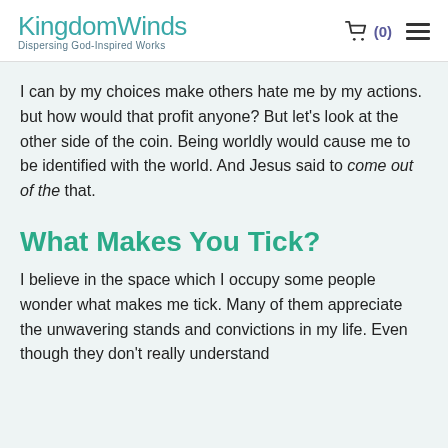KingdomWinds Dispersing God-Inspired Works
I can by my choices make others hate me by my actions. but how would that profit anyone? But let’s look at the other side of the coin. Being worldly would cause me to be identified with the world. And Jesus said to come out of the that.
What Makes You Tick?
I believe in the space which I occupy some people wonder what makes me tick. Many of them appreciate the unwavering stands and convictions in my life. Even though they don’t really understand